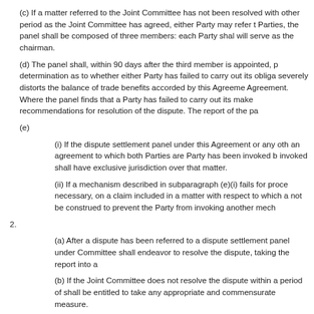(c) If a matter referred to the Joint Committee has not been resolved with other period as the Joint Committee has agreed, either Party may refer t Parties, the panel shall be composed of three members: each Party shal will serve as the chairman.
(d) The panel shall, within 90 days after the third member is appointed, p determination as to whether either Party has failed to carry out its obliga severely distorts the balance of trade benefits accorded by this Agreeme Agreement. Where the panel finds that a Party has failed to carry out its make recommendations for resolution of the dispute. The report of the pa
(e)
(i) If the dispute settlement panel under this Agreement or any oth an agreement to which both Parties are Party has been invoked b invoked shall have exclusive jurisdiction over that matter.
(ii) If a mechanism described in subparagraph (e)(i) fails for proce necessary, on a claim included in a matter with respect to which a not be construed to prevent the Party from invoking another mech
2.
(a) After a dispute has been referred to a dispute settlement panel under Committee shall endeavor to resolve the dispute, taking the report into a
(b) If the Joint Committee does not resolve the dispute within a period of shall be entitled to take any appropriate and commensurate measure.
1. The Parties, within 180 days after the entry into force of this Agreement, shall conduct of members of panels and Model Rules of Procedure for panels. The Jo panel established under this Article shall conduct its proceedings in accordance